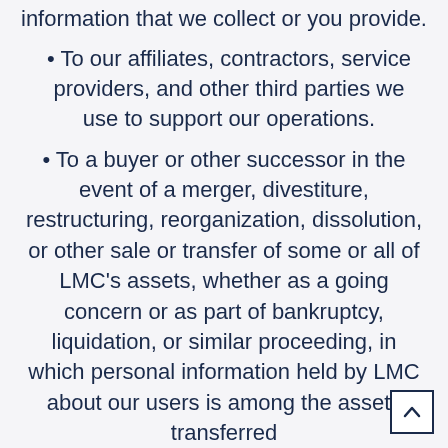information that we collect or you provide.
To our affiliates, contractors, service providers, and other third parties we use to support our operations.
To a buyer or other successor in the event of a merger, divestiture, restructuring, reorganization, dissolution, or other sale or transfer of some or all of LMC's assets, whether as a going concern or as part of bankruptcy, liquidation, or similar proceeding, in which personal information held by LMC about our users is among the assets transferred